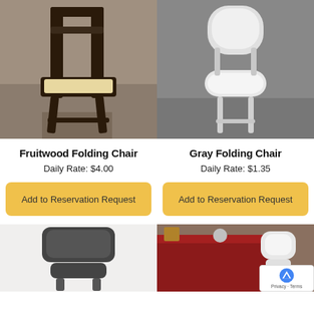[Figure (photo): Fruitwood folding chair with cream padded seat on tile floor]
[Figure (photo): Gray metal folding chair on carpet]
Fruitwood Folding Chair
Gray Folding Chair
Daily Rate: $4.00
Daily Rate: $1.35
Add to Reservation Request
Add to Reservation Request
[Figure (photo): Dark gray padded folding chair on white background]
[Figure (photo): Table with dark red tablecloth and white chair, with reCAPTCHA badge overlay]